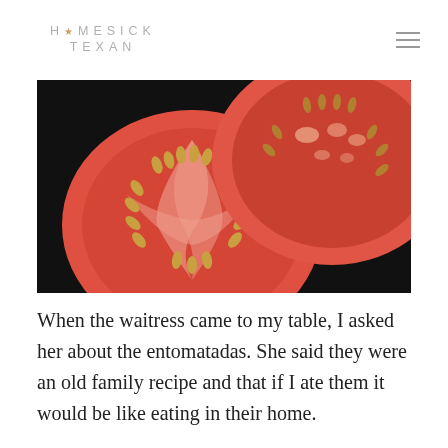HOMESICK TEXAN
[Figure (photo): Close-up photograph of two sliced tomatoes showing their interior cross-sections with seeds and flesh on a dark background.]
When the waitress came to my table, I asked her about the entomatadas. She said they were an old family recipe and that if I ate them it would be like eating in their home.